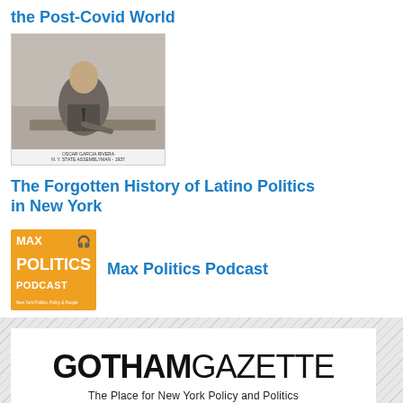the Post-Covid World
[Figure (photo): Black and white vintage photograph of a man in a suit sitting at a desk writing, with a caption bar at the bottom.]
The Forgotten History of Latino Politics in New York
[Figure (logo): Max Politics Podcast logo: orange square with white bold text MAX POLITICS PODCAST, headphones icon, and tagline New York Politics, Policy & People]
Max Politics Podcast
[Figure (logo): Gotham Gazette logo with tagline: The Place for New York Policy and Politics, and a Twitter Follow @gothamgazette button with 23.7K followers]
GOTHAM GAZETTE
The Place for New York Policy and Politics
Follow @gothamgazette
23.7K follo